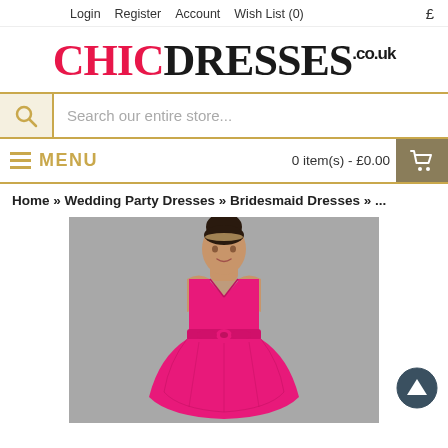Login   Register   Account   Wish List (0)   £
CHICDRESSES.co.uk
Search our entire store...
MENU   0 item(s) - £0.00
Home » Wedding Party Dresses » Bridesmaid Dresses » ...
[Figure (photo): A model wearing a pink/fuchsia satin bridesmaid dress with V-neckline, bow detail at the waist, and full skirt, gray background]